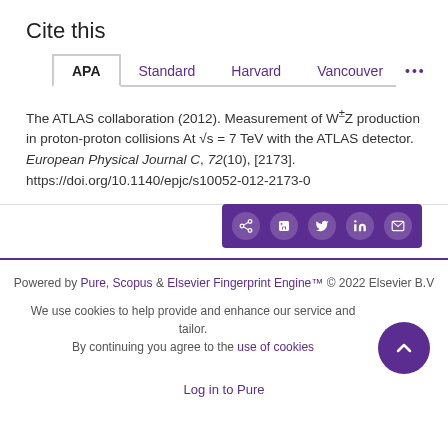Cite this
The ATLAS collaboration (2012). Measurement of W±Z production in proton-proton collisions At √s = 7 TeV with the ATLAS detector. European Physical Journal C, 72(10), [2173]. https://doi.org/10.1140/epjc/s10052-012-2173-0
Powered by Pure, Scopus & Elsevier Fingerprint Engine™ © 2022 Elsevier B.V
We use cookies to help provide and enhance our service and tailor. By continuing you agree to the use of cookies
Log in to Pure